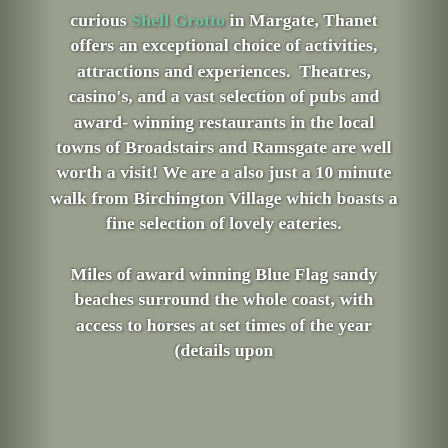curious Shell Grotto in Margate, Thanet offers an exceptional choice of activities, attractions and experiences.  Theatres, casino's, and a vast selection of pubs and award-winning restaurants in the local towns of Broadstairs and Ramsgate are well worth a visit! We are a also just a 10 minute walk from Birchington Village which boasts a fine selection of lovely eateries.

Miles of award winning Blue Flag sandy beaches surround the whole coast, with access to horses at set times of the year (details upon